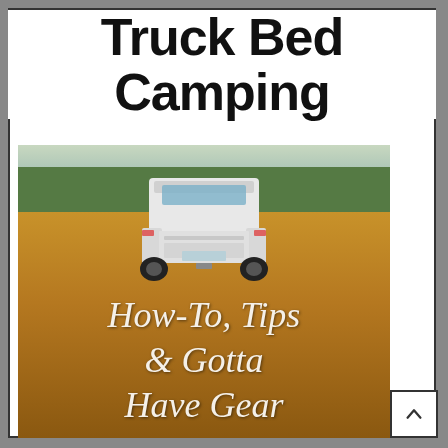Truck Bed Camping
[Figure (photo): White pickup truck viewed from behind, parked in a golden field of tall dry grass with green trees in the background and a light sky. Overlaid text reads: How-To, Tips & Gotta Have Gear]
How-To, Tips & Gotta Have Gear